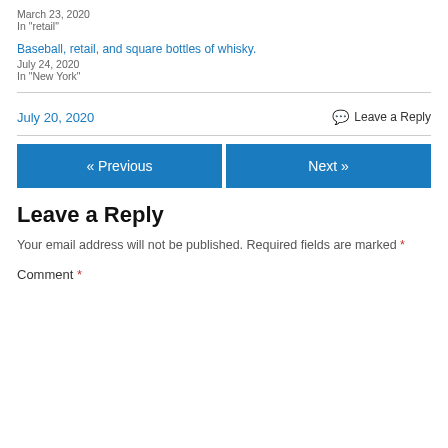March 23, 2020
In "retail"
Baseball, retail, and square bottles of whisky.
July 24, 2020
In "New York"
July 20, 2020
Leave a Reply
« Previous
Next »
Leave a Reply
Your email address will not be published. Required fields are marked *
Comment *